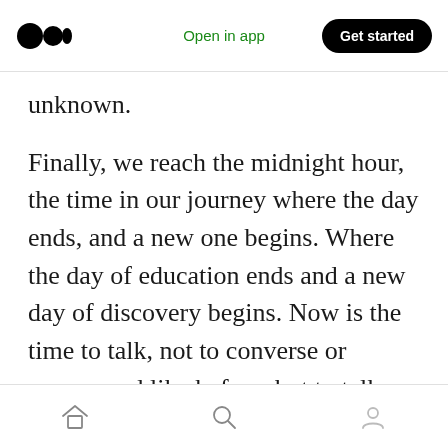Medium logo | Open in app | Get started
unknown.
Finally, we reach the midnight hour, the time in our journey where the day ends, and a new one begins. Where the day of education ends and a new day of discovery begins. Now is the time to talk, not to converse or correspond like before, but to talk with intimacy. Talk with the all-powerful forces of time and space that govern our universe in an attempt to learn something new about them. Unleash every bit of knowledge you have during that talk and listen to what the
Home | Search | Profile